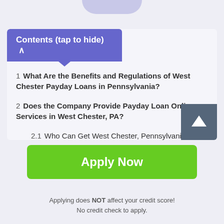Contents (tap to hide) ∧
1  What Are the Benefits and Regulations of West Chester Payday Loans in Pennsylvania?
2  Does the Company Provide Payday Loan Online Services in West Chester, PA?
2.1  Who Can Get West Chester, Pennsylvania Payday Loans?
3  Borrow Cash Now
Apply Now
Applying does NOT affect your credit score!
No credit check to apply.